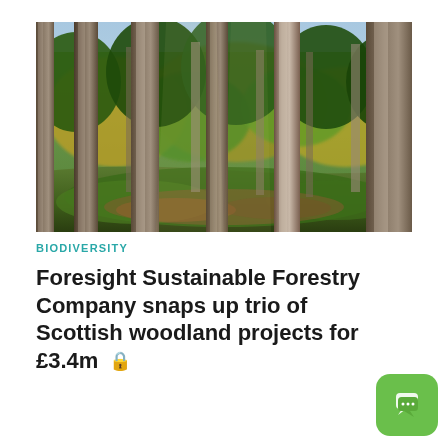[Figure (photo): Forest scene with tall conifer trees, green mossy floor, and autumn foliage in the background — a Scottish woodland]
BIODIVERSITY
Foresight Sustainable Forestry Company snaps up trio of Scottish woodland projects for £3.4m 🔒